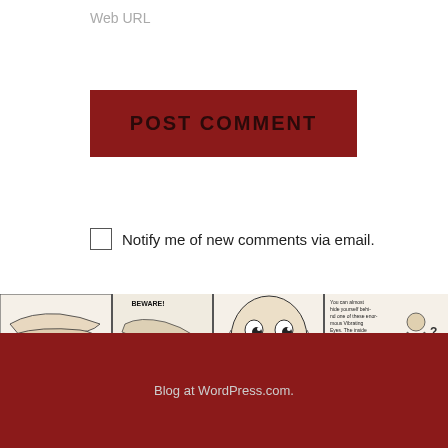Web URL
POST COMMENT
Notify me of new comments via email.
Notify me of new posts via email.
[Figure (illustration): A vintage comic strip illustration with four panels: hands with text 'It seems to be alive!', a hand-shaking scene labeled 'Beware!', a man's face with wide eyes, and a figure with a question mark.]
Blog at WordPress.com.